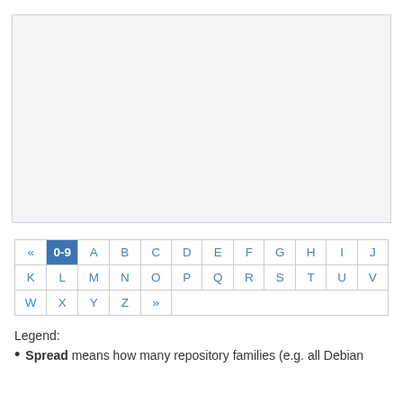[Figure (other): Large empty light-gray area at top of page]
| « | 0-9 | A | B | C | D | E | F | G | H | I | J |
| --- | --- | --- | --- | --- | --- | --- | --- | --- | --- | --- | --- |
| K | L | M | N | O | P | Q | R | S | T | U | V |
| W | X | Y | Z | » |  |  |  |  |  |  |  |
Legend:
Spread means how many repository families (e.g. all Debian